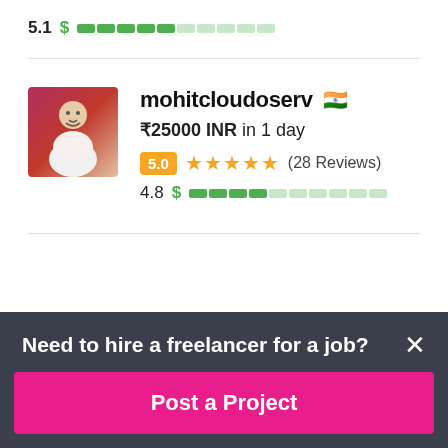5.1  $ [competency bar ~4/10 filled]
[Figure (infographic): Profile photo of mohitcloudoserv, a man in a white outfit against a pinkish background]
mohitcloudoserv 🇮🇳
₹25000 INR in 1 day
5.0  ★★★★★  (28 Reviews)
4.8  $ [competency bar ~4/10 filled]
Need to hire a freelancer for a job?
Post a Project